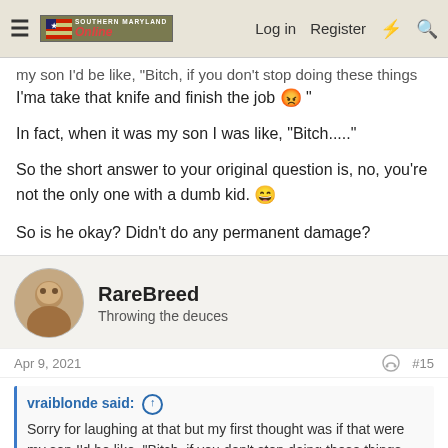Southern Maryland Online — Log in  Register
my son I'd be like, "Bitch, if you don't stop doing these things I'ma take that knife and finish the job 😡 "
In fact, when it was my son I was like, "Bitch....."
So the short answer to your original question is, no, you're not the only one with a dumb kid. 😄
So is he okay? Didn't do any permanent damage?
RareBreed
Throwing the deuces
Apr 9, 2021  #15
vraiblonde said: ↑
Sorry for laughing at that but my first thought was if that were my son I'd be like, "Bitch, if you don't stop doing these things I'ma take that knife and finish the job 😡 "